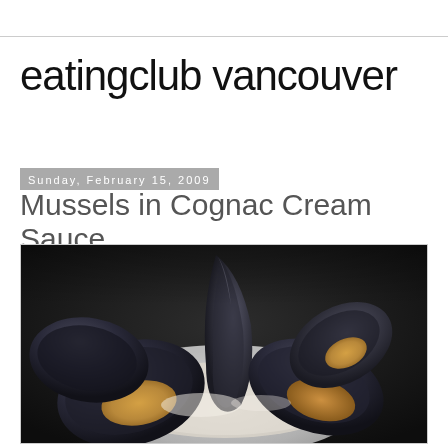eatingclub vancouver
Sunday, February 15, 2009
Mussels in Cognac Cream Sauce
[Figure (photo): Close-up photo of cooked mussels in their shells served in a white bowl with cream sauce, on a dark background]